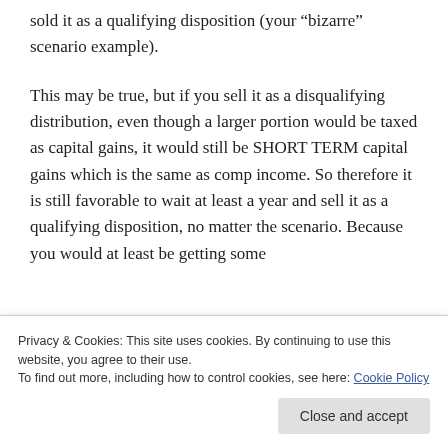sold it as a qualifying disposition (your “bizarre” scenario example).
This may be true, but if you sell it as a disqualifying distribution, even though a larger portion would be taxed as capital gains, it would still be SHORT TERM capital gains which is the same as comp income. So therefore it is still favorable to wait at least a year and sell it as a qualifying disposition, no matter the scenario. Because you would at least be getting some
Privacy & Cookies: This site uses cookies. By continuing to use this website, you agree to their use.
To find out more, including how to control cookies, see here: Cookie Policy
→ Reply